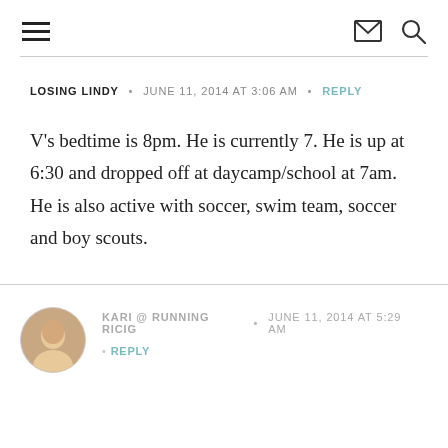≡ [hamburger menu]  [mail icon]  [search icon]
LOSING LINDY • JUNE 11, 2014 AT 3:06 AM • REPLY
V's bedtime is 8pm. He is currently 7. He is up at 6:30 and dropped off at daycamp/school at 7am. He is also active with soccer, swim team, soccer and boy scouts.
KARI @ RUNNING RICIG • JUNE 11, 2014 AT 5:29 AM